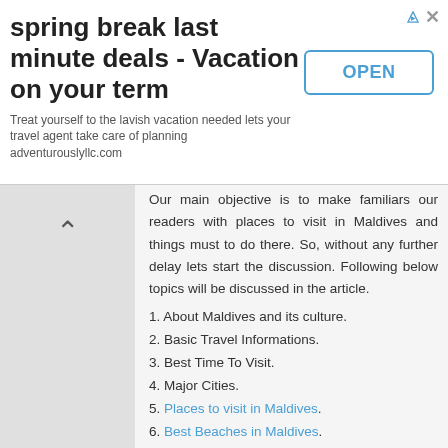[Figure (other): Advertisement banner: 'spring break last minute deals - Vacation on your term' with OPEN button and ad icons]
Our main objective is to make familiars our readers with places to visit in Maldives and things must to do there. So, without any further delay lets start the discussion. Following below topics will be discussed in the article.
1. About Maldives and its culture.
2. Basic Travel Informations.
3. Best Time To Visit.
4. Major Cities.
5. Places to visit in Maldives.
6. Best Beaches in Maldives.
7. Maldives Maps (Satellite Map Included).
8. Entry in Maldives. Visa and Passport Details.
9. How to Reach Maldives.
10. Travel within/in Maldives.